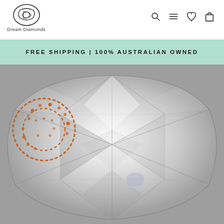Dream Diamonds
FREE SHIPPING | 100% AUSTRALIAN OWNED
[Figure (photo): Close-up photograph of a cushion-cut diamond with brilliant faceting, showing light reflections and sparkle. Background is grey. An orange/rust dotted circular watermark logo is visible in the upper-left corner of the image.]